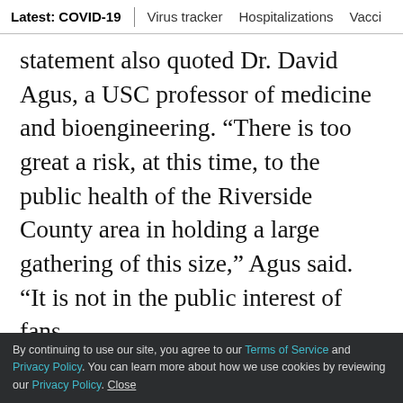Latest: COVID-19 | Virus tracker | Hospitalizations | Vacci
statement also quoted Dr. David Agus, a USC professor of medicine and bioengineering. “There is too great a risk, at this time, to the public health of the Riverside County area in holding a large gathering of this size,” Agus said. “It is not in the public interest of fans,
LIMITED-TIME OFFER
$1 for 6 Months
SUBSCRIBE NOW
By continuing to use our site, you agree to our Terms of Service and Privacy Policy. You can learn more about how we use cookies by reviewing our Privacy Policy. Close